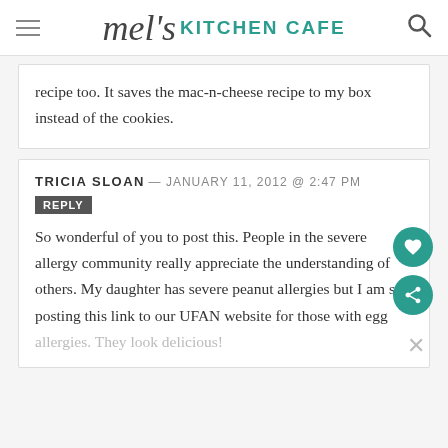mel's KITCHEN CAFE
recipe too. It saves the mac-n-cheese recipe to my box instead of the cookies.
TRICIA SLOAN — JANUARY 11, 2012 @ 2:47 PM
REPLY
So wonderful of you to post this. People in the severe allergy community really appreciate the understanding of others. My daughter has severe peanut allergies but I am still posting this link to our UFAN website for those with egg allergies. They look delicious!